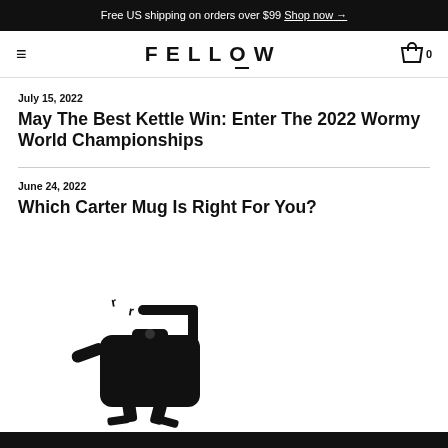Free US shipping on orders over $99 Shop now →
FELLOW  (nav bar with hamburger menu and cart)
July 15, 2022
May The Best Kettle Win: Enter The 2022 Wormy World Championships
June 24, 2022
Which Carter Mug Is Right For You?
[Figure (illustration): Black cartoon kettle character with legs and arms, steam rising from top]